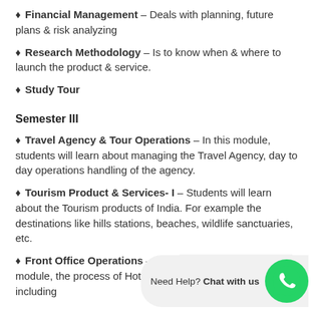Financial Management – Deals with planning, future plans & risk analyzing
Research Methodology – Is to know when & where to launch the product & service.
Study Tour
Semester III
Travel Agency & Tour Operations – In this module, students will learn about managing the Travel Agency, day to day operations handling of the agency.
Tourism Product & Services- I – Students will learn about the Tourism products of India. For example the destinations like hills stations, beaches, wildlife sanctuaries, etc.
Front Office Operations – Rese... module, the process of Hotel Front office operation is taught, including